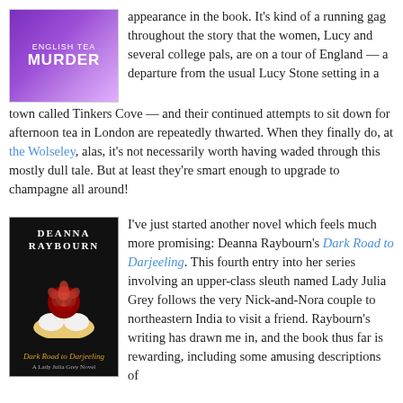[Figure (illustration): Book cover of 'English Tea Murder' with purple/violet gradient background and white bold text]
appearance in the book. It's kind of a running gag throughout the story that the women, Lucy and several college pals, are on a tour of England — a departure from the usual Lucy Stone setting in a town called Tinkers Cove — and their continued attempts to sit down for afternoon tea in London are repeatedly thwarted. When they finally do, at the Wolseley, alas, it's not necessarily worth having waded through this mostly dull tale. But at least they're smart enough to upgrade to champagne all around!
[Figure (illustration): Book cover of 'Dark Road to Darjeeling' by Deanna Raybourn with dark background, gloved hands holding a red rose, and gold/brown text]
I've just started another novel which feels much more promising: Deanna Raybourn's Dark Road to Darjeeling. This fourth entry into her series involving an upper-class sleuth named Lady Julia Grey follows the very Nick-and-Nora couple to northeastern India to visit a friend. Raybourn's writing has drawn me in, and the book thus far is rewarding, including some amusing descriptions of